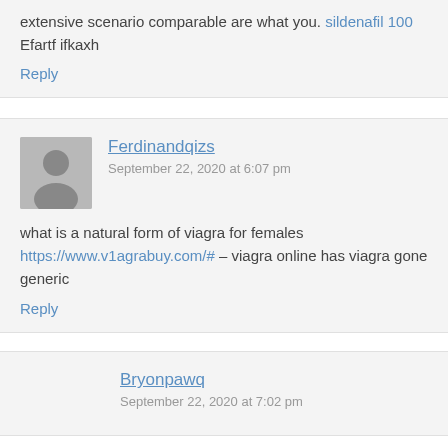extensive scenario comparable are what you. sildenafil 100 Efartf ifkaxh
Reply
Ferdinandqizs
September 22, 2020 at 6:07 pm
what is a natural form of viagra for females https://www.v1agrabuy.com/# – viagra online has viagra gone generic
Reply
Bryonpawq
September 22, 2020 at 7:02 pm